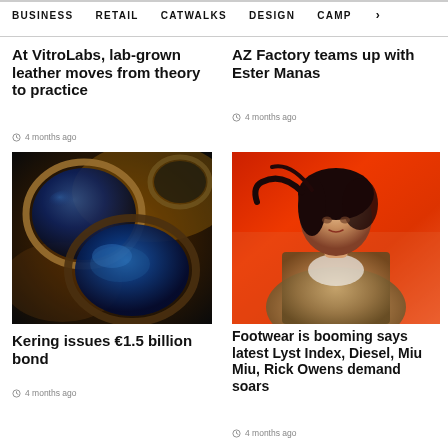BUSINESS   RETAIL   CATWALKS   DESIGN   CAMP >
At VitroLabs, lab-grown leather moves from theory to practice
4 months ago
AZ Factory teams up with Ester Manas
4 months ago
[Figure (photo): Close-up of multiple round sunglasses with gold and dark frames, one pair with striking blue reflective lenses]
[Figure (photo): Young Asian woman in a denim jacket over a white top, posed against a red-orange gradient background]
Kering issues €1.5 billion bond
4 months ago
Footwear is booming says latest Lyst Index, Diesel, Miu Miu, Rick Owens demand soars
4 months ago